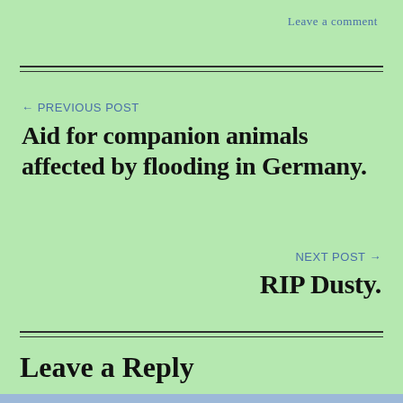Leave a comment
← PREVIOUS POST
Aid for companion animals affected by flooding in Germany.
NEXT POST →
RIP Dusty.
Leave a Reply